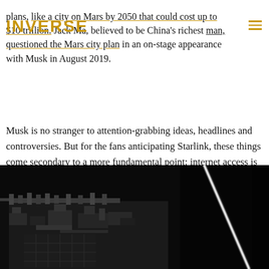plans, like a city on Mars by 2050 that could cost up to $10 trillion. Jack Ma, believed to be China's richest man, questioned the Mars city plan in an on-stage appearance with Musk in August 2019.
INVERSE
Musk is no stranger to attention-grabbing ideas, headlines and controversies. But for the fans anticipating Starlink, these things come secondary to a more fundamental point: internet access is critical in contemporary society, and poor connections can leave communities feeling isolated.
[Figure (photo): Close-up black and white photograph of satellite or spacecraft hardware components with a bright white light beam/laser visible on the right side against a dark background.]